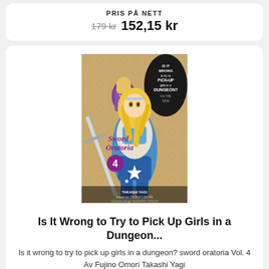PRIS PÅ NETT
179 kr  152,15 kr
[Figure (illustration): Book cover of 'Is It Wrong to Try to Pick Up Girls in a Dungeon? On The Side: Sword Oratoria Vol. 4' by Takashi Yagi. Shows anime-style illustration of a blonde female character in armor with a sword, and a male character in the background. Title and series logos visible.]
Is It Wrong to Try to Pick Up Girls in a Dungeon...
Is it wrong to try to pick up girls in a dungeon? sword oratoria Vol. 4
Av Fujino Omori Takashi Yagi